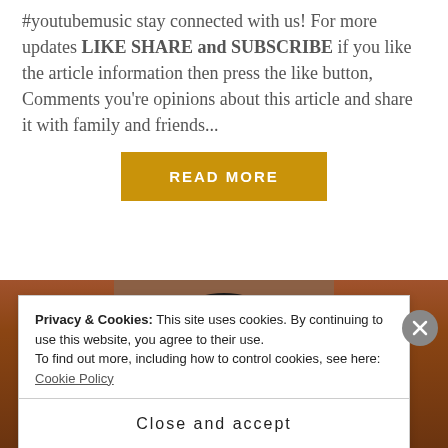#youtubemusic stay connected with us! For more updates LIKE SHARE and SUBSCRIBE if you like the article information then press the like button, Comments you’re opinions about this article and share it with family and friends...
[Figure (other): A yellow/gold 'READ MORE' button]
[Figure (photo): A person's head with dark hair against a wooden background]
Privacy & Cookies: This site uses cookies. By continuing to use this website, you agree to their use.
To find out more, including how to control cookies, see here:
Cookie Policy
Close and accept